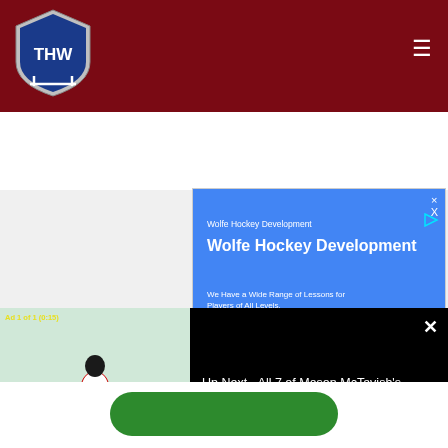[Figure (logo): THW Hockey Writers logo — shield with THW text on dark red navigation bar]
[Figure (screenshot): Wolfe Hockey Development advertisement with Google Maps inset. Blue header with business name and description, map showing location pin.]
[Figure (screenshot): Video player showing hockey player on ice rink. Counter shows 'Ad 1 of 1 (0:15)']
Up Next - All 7 of Mason McTavish's Round-Robin Goals
[Figure (other): Green rounded button at bottom of page]